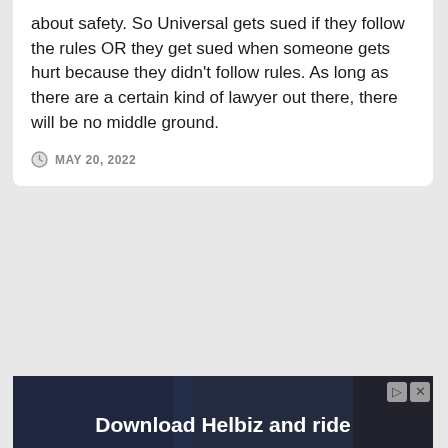about safety. So Universal gets sued if they follow the rules OR they get sued when someone gets hurt because they didn't follow rules. As long as there are a certain kind of lawyer out there, there will be no middle ground.
MAY 20, 2022
[Figure (screenshot): Advertisement banner for Helbiz with text 'Download Helbiz and ride' over a dark background image, with close and skip controls in top right]